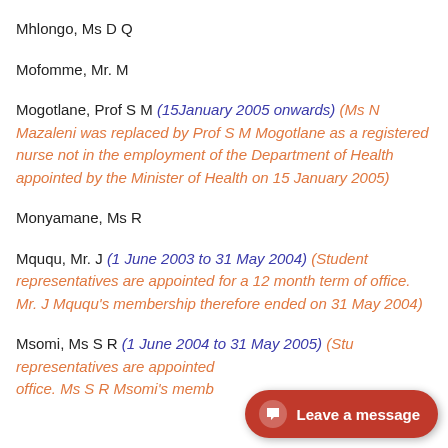Mhlongo, Ms D Q
Mofomme, Mr. M
Mogotlane, Prof S M (15January 2005 onwards) (Ms N Mazaleni was replaced by Prof S M Mogotlane as a registered nurse not in the employment of the Department of Health appointed by the Minister of Health on 15 January 2005)
Monyamane, Ms R
Mququ, Mr. J (1 June 2003 to 31 May 2004) (Student representatives are appointed for a 12 month term of office.  Mr. J Mququ's membership therefore ended on 31 May 2004)
Msomi, Ms S R (1 June 2004 to 31 May 2005) (Student representatives are appointed for a 12 month term of office. Ms S R Msomi's membership therefore ended on